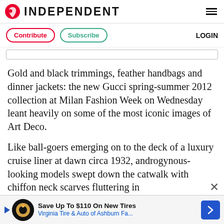INDEPENDENT
Contribute   Subscribe   LOGIN
Gold and black trimmings, feather handbags and dinner jackets: the new Gucci spring-summer 2012 collection at Milan Fashion Week on Wednesday leant heavily on some of the most iconic images of Art Deco.
Like ball-goers emerging on to the deck of a luxury cruise liner at dawn circa 1932, androgynous-looking models swept down the catwalk with chiffon neck scarves fluttering in the wind and gold belts twinkling in the
Save Up To $110 On New Tires
Virginia Tire & Auto of Ashburn Fa...